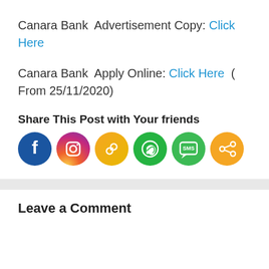Canara Bank  Advertisement Copy: Click Here
Canara Bank  Apply Online: Click Here  ( From 25/11/2020)
Share This Post with Your friends
[Figure (infographic): Social media share icons: Facebook (blue), Instagram (gradient purple-pink-orange), Link (yellow-orange), WhatsApp (green), SMS (green), Share (orange)]
Leave a Comment